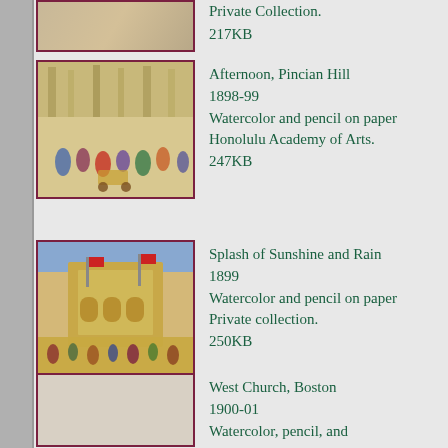[Figure (photo): Partial artwork thumbnail at top, cropped]
Private Collection.
217KB
[Figure (photo): Afternoon, Pincian Hill artwork thumbnail - watercolor scene with figures in a park setting]
Afternoon, Pincian Hill
1898-99
Watercolor and pencil on paper
Honolulu Academy of Arts.
247KB
[Figure (photo): Splash of Sunshine and Rain artwork thumbnail - watercolor scene with architecture and flags]
Splash of Sunshine and Rain
1899
Watercolor and pencil on paper
Private collection.
250KB
[Figure (photo): West Church, Boston artwork thumbnail - partial view at bottom]
West Church, Boston
1900-01
Watercolor, pencil, and